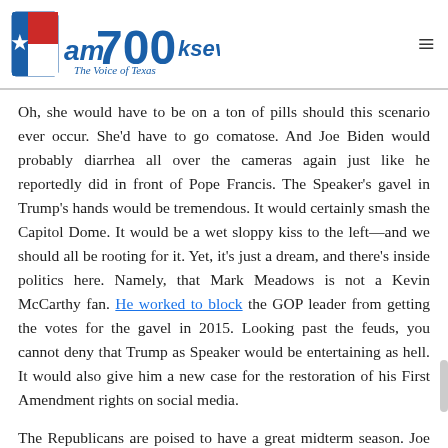[Figure (logo): AM 700 KSEV The Voice of Texas radio station logo with Texas flag graphic]
Oh, she would have to be on a ton of pills should this scenario ever occur. She'd have to go comatose. And Joe Biden would probably diarrhea all over the cameras again just like he reportedly did in front of Pope Francis. The Speaker's gavel in Trump's hands would be tremendous. It would certainly smash the Capitol Dome. It would be a wet sloppy kiss to the left—and we should all be rooting for it. Yet, it's just a dream, and there's inside politics here. Namely, that Mark Meadows is not a Kevin McCarthy fan. He worked to block the GOP leader from getting the votes for the gavel in 2015. Looking past the feuds, you cannot deny that Trump as Speaker would be entertaining as hell. It would also give him a new case for the restoration of his First Amendment rights on social media.
The Republicans are poised to have a great midterm season. Joe Biden's approvals are in the toilet. The GOP house to gain...